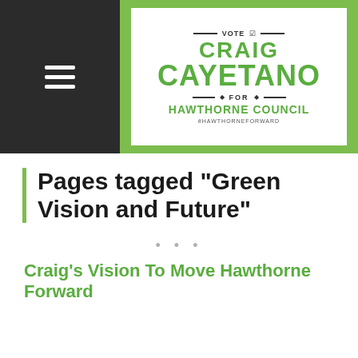[Figure (logo): Campaign logo for Craig Cayetano for Hawthorne Council with green and white design, hamburger menu icon on dark left panel]
Pages tagged "Green Vision and Future"
• • •
Craig's Vision To Move Hawthorne Forward